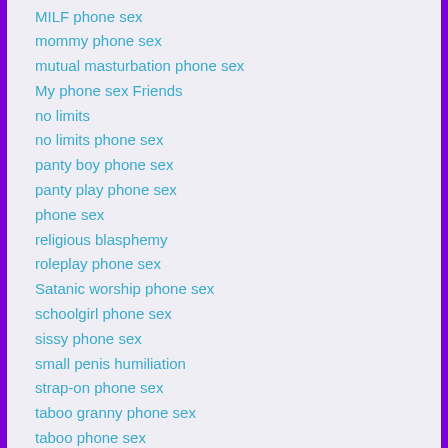MILF phone sex
mommy phone sex
mutual masturbation phone sex
My phone sex Friends
no limits
no limits phone sex
panty boy phone sex
panty play phone sex
phone sex
religious blasphemy
roleplay phone sex
Satanic worship phone sex
schoolgirl phone sex
sissy phone sex
small penis humiliation
strap-on phone sex
taboo granny phone sex
taboo phone sex
taboo phonesex
taboo roleplay
tease and denial phone sex
toilet play phone sex
Uncategorized